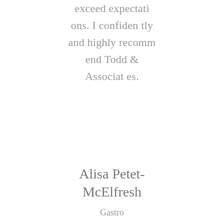exceed expectations. I confidently and highly recommend Todd & Associates.
Alisa Petet-McElfresh
Gastro